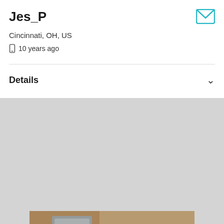Jes_P
Cincinnati, OH, US
📱 10 years ago
Details
[Figure (photo): Young woman with long curly dark hair, wearing a dark lace top/corset, posed in a kitchen setting with warm lighting]